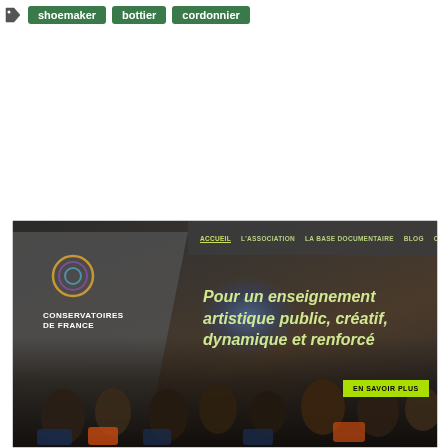shoemaker  bottier  cordonnier
[Figure (screenshot): Screenshot of 'Conservatoires de France' website showing a hero banner with audience watching a performance. Navigation bar at top with links: ACCUEIL, L'ASSOCIATION, LA BASE DOCUMENTAIRE, BLOG, CONTACT. Center text reads 'Pour un enseignement artistique public, créatif, dynamique et renforcé' with a green 'EN SAVOIR PLUS' button. Logo with circular design in top left.]